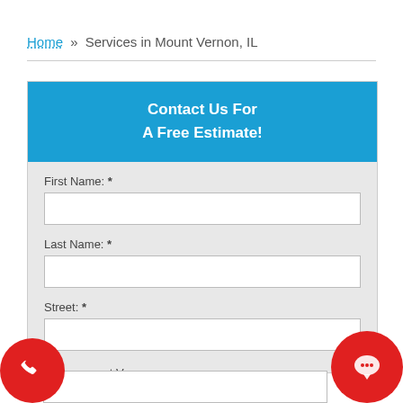Home » Services in Mount Vernon, IL
Contact Us For
A Free Estimate!
First Name: *
Last Name: *
Street: *
* ount Vernon